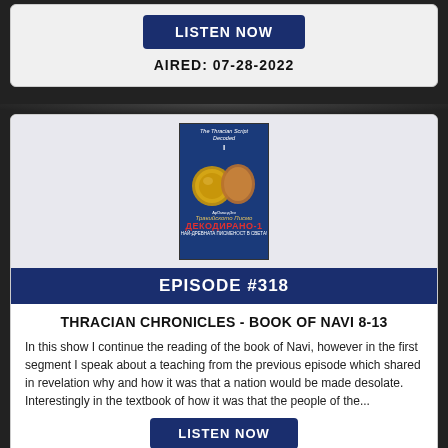LISTEN NOW
AIRED: 07-28-2022
[Figure (illustration): Book cover of 'The Thracian Script Decoded' showing two ancient gold coins/artifacts on a blue background, with Cyrillic text at the bottom reading 'Тракийското Писмо ДЕКОДИРАНО-1' and subtitle 'НАЙ-ДРЕВНАТА ПИСМЕНОСТ В СВЕТА!']
EPISODE #318
THRACIAN CHRONICLES - BOOK OF NAVI 8-13
In this show I continue the reading of the book of Navi, however in the first segment I speak about a teaching from the previous episode which shared in revelation why and how it was that a nation would be made desolate. Interestingly in the textbook of how it was that the people of the...
LISTEN NOW